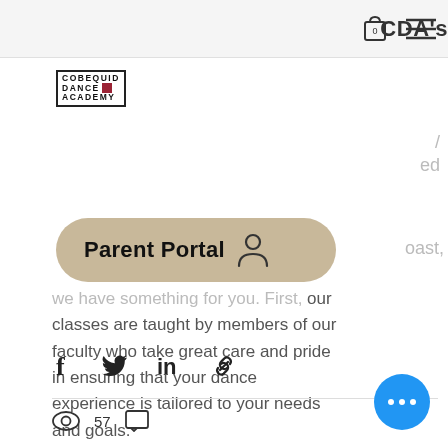CDA's
[Figure (logo): Cobequid Dance Academy logo with text COBEQUID DANCE ACADEMY in a bordered box]
[Figure (other): Parent Portal button with user icon]
we have something for you. First, our classes are taught by members of our faculty who take great care and pride in ensuring that your dance experience is tailored to your needs and goals.
[Figure (other): Social sharing icons: Facebook, Twitter, LinkedIn, Link]
57 views, comment icon